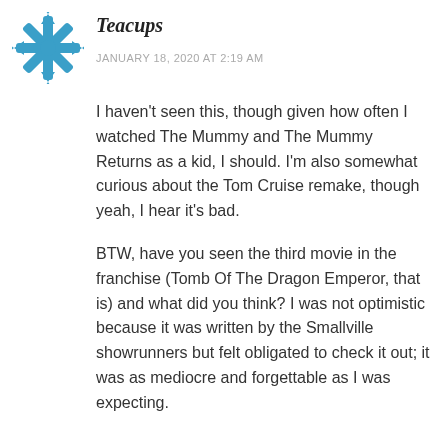[Figure (illustration): Blue decorative snowflake/star avatar icon for user Teacups]
Teacups
JANUARY 18, 2020 AT 2:19 AM
I haven't seen this, though given how often I watched The Mummy and The Mummy Returns as a kid, I should. I'm also somewhat curious about the Tom Cruise remake, though yeah, I hear it's bad.
BTW, have you seen the third movie in the franchise (Tomb Of The Dragon Emperor, that is) and what did you think? I was not optimistic because it was written by the Smallville showrunners but felt obligated to check it out; it was as mediocre and forgettable as I was expecting.